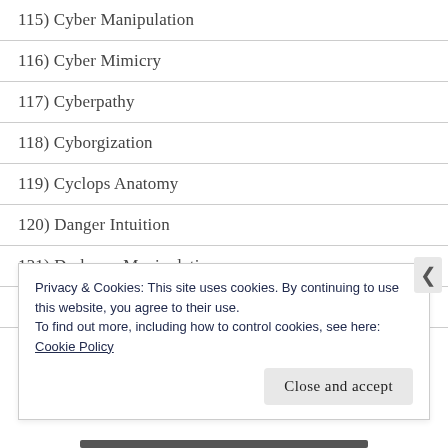115) Cyber Manipulation
116) Cyber Mimicry
117) Cyberpathy
118) Cyborgization
119) Cyclops Anatomy
120) Danger Intuition
121) Darkness Manipulation
122) Darkness Mimicry
Privacy & Cookies: This site uses cookies. By continuing to use this website, you agree to their use.
To find out more, including how to control cookies, see here:
Cookie Policy
Close and accept